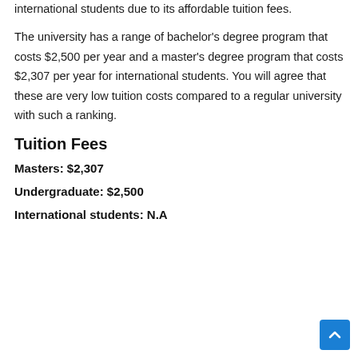international students due to its affordable tuition fees.
The university has a range of bachelor's degree program that costs $2,500 per year and a master's degree program that costs $2,307 per year for international students. You will agree that these are very low tuition costs compared to a regular university with such a ranking.
Tuition Fees
Masters: $2,307
Undergraduate: $2,500
International students: N.A